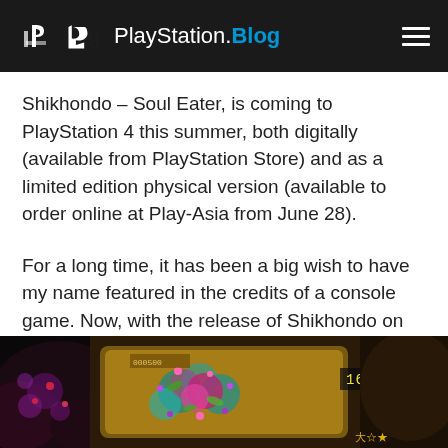PlayStation.Blog
Shikhondo – Soul Eater, is coming to PlayStation 4 this summer, both digitally (available from PlayStation Store) and as a limited edition physical version (available to order online at Play-Asia from June 28).
For a long time, it has been a big wish to have my name featured in the credits of a console game. Now, with the release of Shikhondo on PS4, I am very happy that my dream has finally come true!
[Figure (screenshot): Screenshot of Shikhondo – Soul Eater game showing colorful bullet patterns and flowers on a dark background with score 16027 visible]